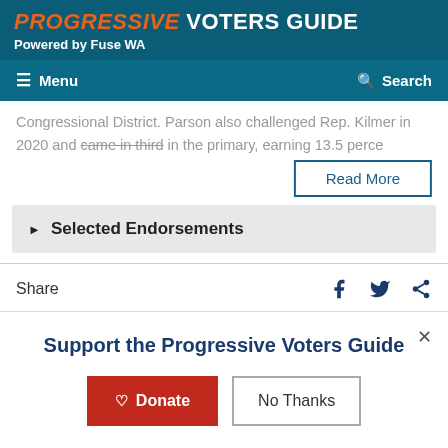PROGRESSIVE VOTERS GUIDE
Powered by Fuse WA
Menu    Search
Congressional District. Parson also challenged Rep. Kilmer in 2020 and came in third in the primary, earning 13.5 perce...
Read More
Selected Endorsements
Share
Other Candidates
Support the Progressive Voters Guide
Donate   No Thanks